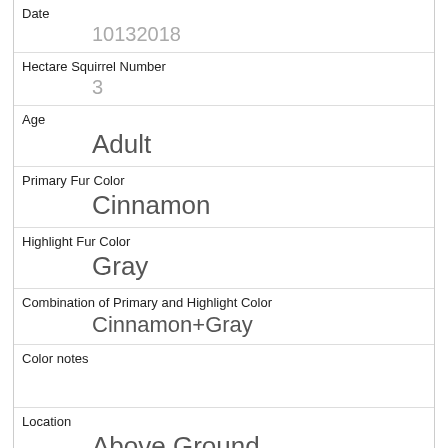Date
10132018
Hectare Squirrel Number
3
Age
Adult
Primary Fur Color
Cinnamon
Highlight Fur Color
Gray
Combination of Primary and Highlight Color
Cinnamon+Gray
Color notes
Location
Above Ground
Above Ground Sighter Measurement
15
Specific Location